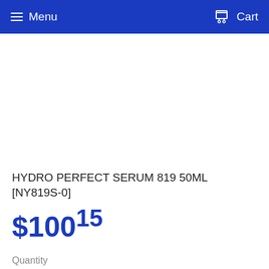Menu  Cart
[Figure (other): Product image area (blank white)]
HYDRO PERFECT SERUM 819 50ML [NY819S-0]
$100.15
Quantity